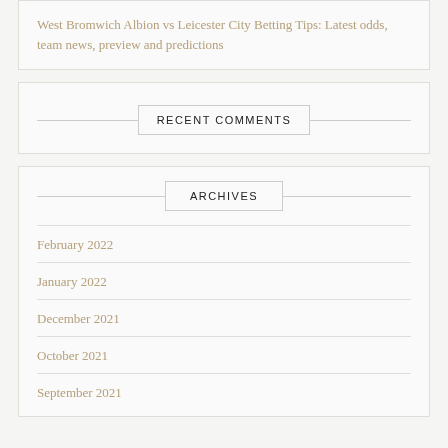West Bromwich Albion vs Leicester City Betting Tips: Latest odds, team news, preview and predictions
RECENT COMMENTS
ARCHIVES
February 2022
January 2022
December 2021
October 2021
September 2021